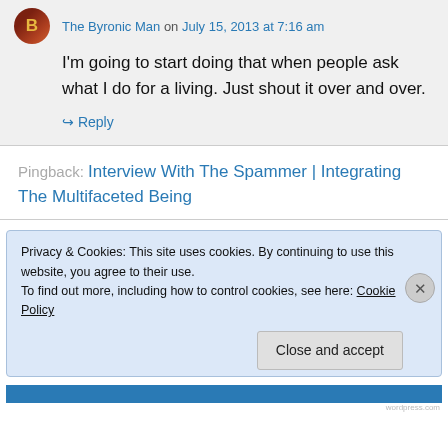The Byronic Man on July 15, 2013 at 7:16 am
I'm going to start doing that when people ask what I do for a living. Just shout it over and over.
↳ Reply
Pingback: Interview With The Spammer | Integrating The Multifaceted Being
Privacy & Cookies: This site uses cookies. By continuing to use this website, you agree to their use. To find out more, including how to control cookies, see here: Cookie Policy
Close and accept